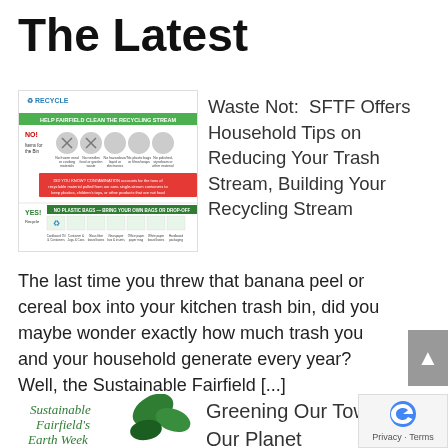The Latest
[Figure (infographic): Recycle flyer titled 'RECYCLE - Help Fairfield Clean the Recycling Stream' showing items not to recycle and items that can be recycled including no plastic bags.]
Waste Not:  SFTF Offers Household Tips on Reducing Your Trash Stream, Building Your Recycling Stream
The last time you threw that banana peel or cereal box into your kitchen trash bin, did you maybe wonder exactly how much trash you and your household generate every year? Well, the Sustainable Fairfield [...]
[Figure (illustration): Sustainable Fairfield's Earth Week illustrated logo with green leaf design and script text]
Greening Our Town and Our Planet